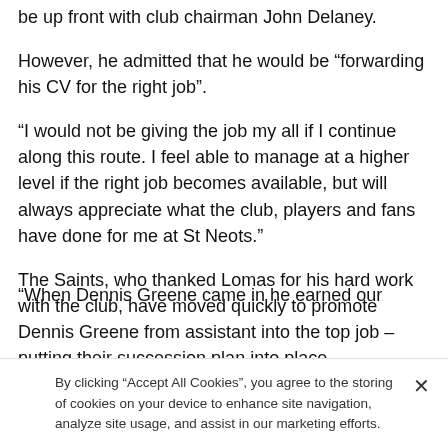be up front with club chairman John Delaney.
However, he admitted that he would be “forwarding his CV for the right job”.
“I would not be giving the job my all if I continue along this route. I feel able to manage at a higher level if the right job becomes available, but will always appreciate what the club, players and fans have done for me at St Neots.”
The Saints, who thanked Lomas for his hard work with the club, have moved quickly to promote Dennis Greene from assistant into the top job – putting their succession plan into place.
“When Dennis Greene came in he earned our respect
By clicking “Accept All Cookies”, you agree to the storing of cookies on your device to enhance site navigation, analyze site usage, and assist in our marketing efforts.